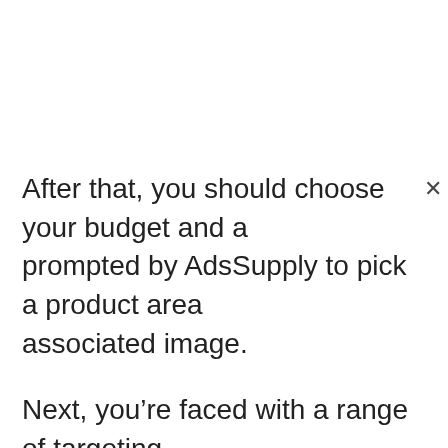After that, you should choose your budget and a... prompted by AdsSupply to pick a product area associated image.
Next, you’re faced with a range of targeting options from which you can choose. The options presented are specifically designed to narrow your target audience. The more targeted your audience is, the more leads (and profits) you can generate.
Lastly, you have to create your headline, although